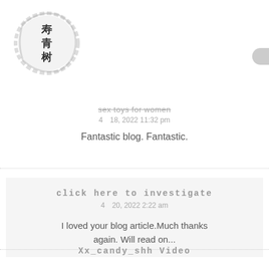[Figure (logo): Chinese calligraphy logo in a circular brushstroke design with Chinese characters]
sex toys for women
4  18, 2022 11:32 pm
Fantastic blog. Fantastic.
click here to investigate
4  20, 2022 2:22 am
I loved your blog article.Much thanks again. Will read on...
Xx_candy_shh Video